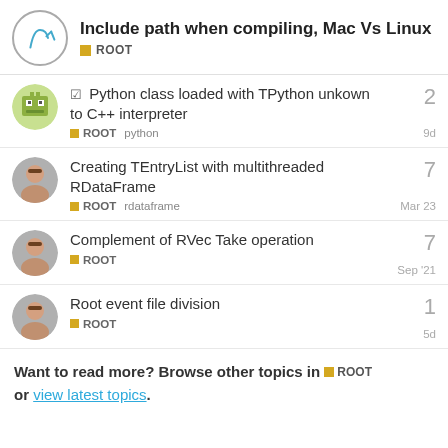Include path when compiling, Mac Vs Linux
Python class loaded with TPython unkown to C++ interpreter - ROOT, python - 2 replies - 9d
Creating TEntryList with multithreaded RDataFrame - ROOT, rdataframe - 7 replies - Mar 23
Complement of RVec Take operation - ROOT - 7 replies - Sep '21
Root event file division - ROOT - 1 reply - 5d
Want to read more? Browse other topics in ROOT or view latest topics.